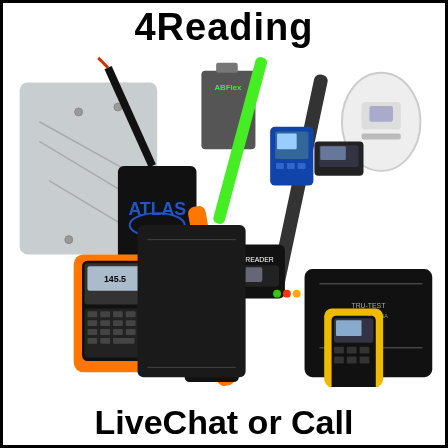4Reading
[Figure (photo): Collection of RFID and barcode reading equipment including handheld readers, wand readers with orange and green probes, antenna panels, and portable data terminals displayed together as a product collage.]
LiveChat or Call